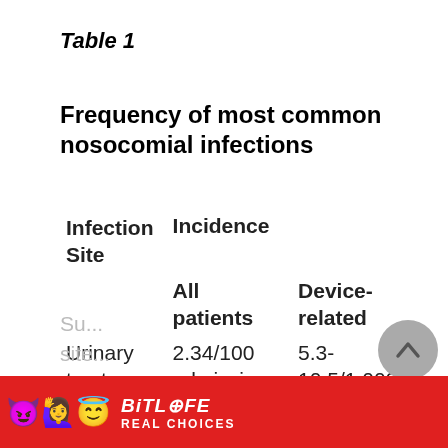Table 1
Frequency of most common nosocomial infections
| Infection Site | Incidence All patients | Incidence Device-related |
| --- | --- | --- |
| Urinary tract infection | 2.34/100 admissions | 5.3-10.5/1,000 catheter days |
| Surgical site infection (partial) |  |  |